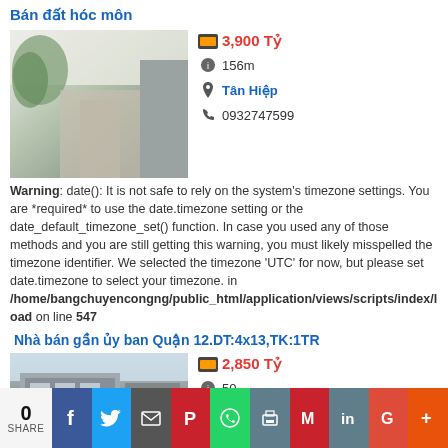Bán đất hóc môn
[Figure (photo): Outdoor road/path photo for first listing]
3,900 Tỷ
156m
Tân Hiệp
0932747599
Warning: date(): It is not safe to rely on the system's timezone settings. You are *required* to use the date.timezone setting or the date_default_timezone_set() function. In case you used any of those methods and you are still getting this warning, you must likely misspelled the timezone identifier. We selected the timezone 'UTC' for now, but please set date.timezone to select your timezone. in /home/bangchuyencongng/public_html/application/views/scripts/index/load on line 547
Nhà bán gần ủy ban Quận 12.DT:4x13,TK:1TR
[Figure (photo): Building/house photo for second listing]
2,850 Tỷ
50
Thới An
0967589307